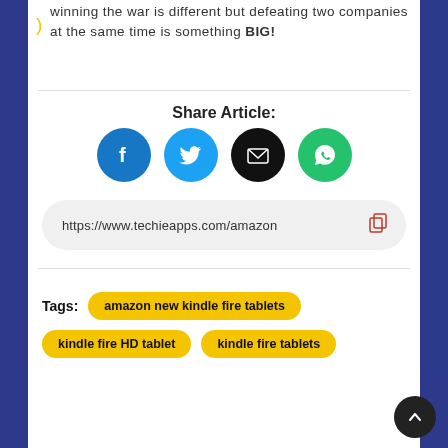winning the war is different but defeating two companies at the same time is something BIG!
Share Article:
[Figure (infographic): Social share buttons: Facebook (blue circle), Twitter (cyan circle), Email (black circle), WhatsApp (green circle)]
https://www.techieapps.com/amazon
Tags:
amazon new kindle fire tablets
kindle fire HD tablet
kindle fire tablets